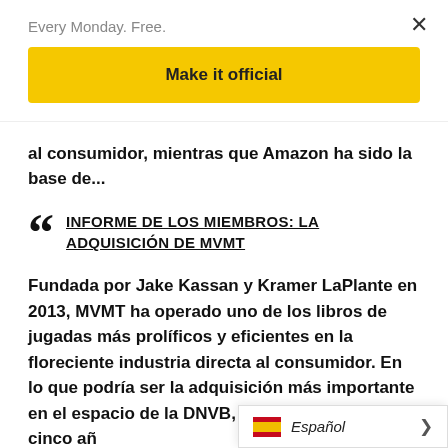Every Monday. Free.
Make it official
al consumidor, mientras que Amazon ha sido la base de...
INFORME DE LOS MIEMBROS: LA ADQUISICIÓN DE MVMT
Fundada por Jake Kassan y Kramer LaPlante en 2013, MVMT ha operado uno de los libros de jugadas más prolíficos y eficientes en la floreciente industria directa al consumidor. En lo que podría ser la adquisición más importante en el espacio de la DNVB, la marca MVMT, con cinco añ
Español